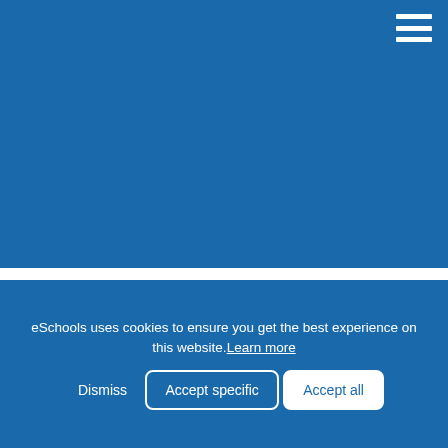[Figure (screenshot): Blue header navigation area with hamburger menu icon (three white horizontal lines) in the top-right corner]
Contact
eSchools uses cookies to ensure you get the best experience on this website. Learn more
Dismiss  Accept specific  Accept all